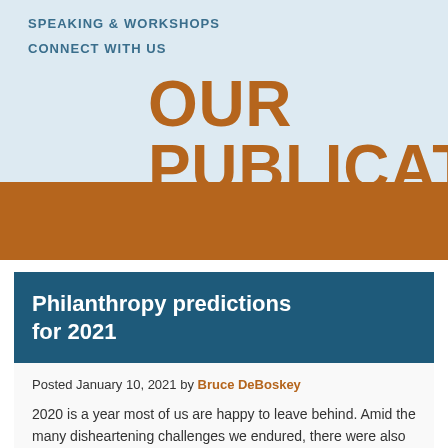SPEAKING & WORKSHOPS
CONNECT WITH US
OUR PUBLICATIONS
Philanthropy predictions for 2021
Posted January 10, 2021 by Bruce DeBoskey
2020 is a year most of us are happy to leave behind. Amid the many disheartening challenges we endured, there were also some positive developments in the philanthropy field that will impact giving in